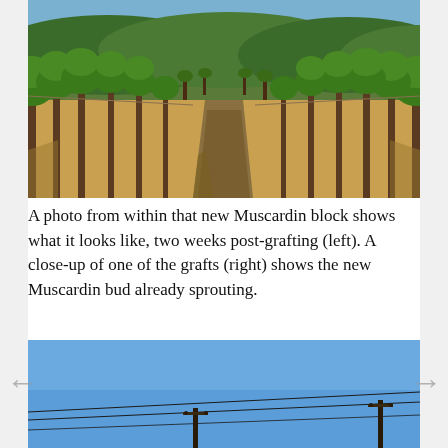[Figure (photo): A photo taken from within a vineyard block, showing rows of grapevines with dry golden grass on the ground, a dirt path between the rows, and rolling hills covered in dark green trees in the background under a bright sunny sky.]
A photo from within that new Muscardin block shows what it looks like, two weeks post-grafting (left). A close-up of one of the grafts (right) shows the new Muscardin bud already sprouting.
[Figure (photo): A photo showing a bright blue sky with what appears to be utility poles and wires in the lower portion of the image.]